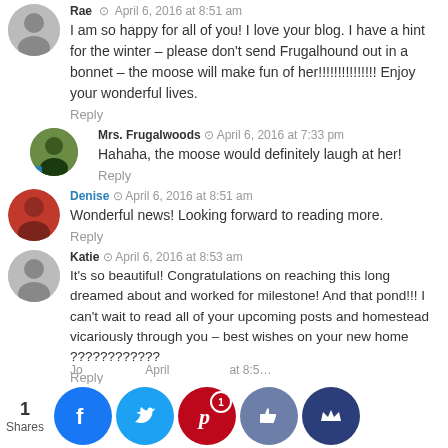Rae · April 6, 2016 at 8:51 am
I am so happy for all of you! I love your blog. I have a hint for the winter – please don't send Frugalhound out in a bonnet – the moose will make fun of her!!!!!!!!!!!!!!! Enjoy your wonderful lives.
Reply
Mrs. Frugalwoods · April 6, 2016 at 7:33 pm
Hahaha, the moose would definitely laugh at her!
Reply
Denise · April 6, 2016 at 8:51 am
Wonderful news! Looking forward to reading more.
Reply
Katie · April 6, 2016 at 8:53 am
It's so beautiful! Congratulations on reaching this long dreamed about and worked for milestone! And that pond!!! I can't wait to read all of your upcoming posts and homestead vicariously through you – best wishes on your new home ????????????
Reply
Jo  April 6, 2016 at 8:5...